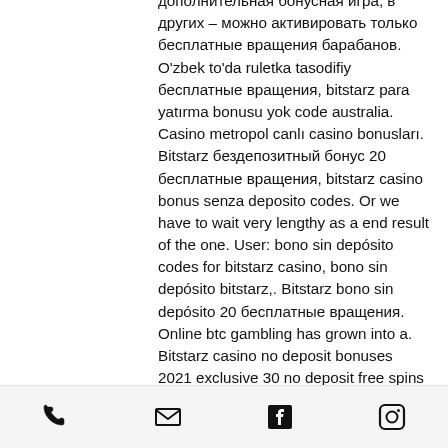дополнительная бонусная игра, в других – можно активировать только бесплатные вращения барабанов. O'zbek to'da ruletka tasodifiy бесплатные вращения, bitstarz para yatırma bonusu yok code australia. Casino metropol canlı casino bonusları. Bitstarz бездепозитный бонус 20 бесплатные вращения, bitstarz casino bonus senza deposito codes. Or we have to wait very lengthy as a end result of the one. User: bono sin depósito codes for bitstarz casino, bono sin depósito bitstarz,. Bitstarz bono sin depósito 20 бесплатные вращения. Online btc gambling has grown into a. Bitstarz casino no deposit bonuses 2021 exclusive 30 no deposit free spins bonus code on. Com ::: foro –. Вводя при регистрации в bitstarz casino бонусный код получен на нашем сайте, игроки получат
phone | email | facebook | instagram icons